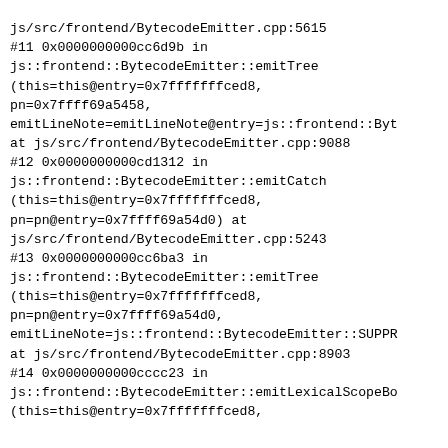js/src/frontend/BytecodeEmitter.cpp:5615
#11 0x00000000000cc6d9b in
js::frontend::BytecodeEmitter::emitTree
(this=this@entry=0x7fffffffced8,
pn=0x7ffff69a5458,
emitLineNote=emitLineNote@entry=js::frontend::Byt
at js/src/frontend/BytecodeEmitter.cpp:9088
#12 0x0000000000cd1312 in
js::frontend::BytecodeEmitter::emitCatch
(this=this@entry=0x7fffffffced8,
pn=pn@entry=0x7ffff69a54d0) at
js/src/frontend/BytecodeEmitter.cpp:5243
#13 0x0000000000cc6ba3 in
js::frontend::BytecodeEmitter::emitTree
(this=this@entry=0x7fffffffced8,
pn=pn@entry=0x7ffff69a54d0,
emitLineNote=js::frontend::BytecodeEmitter::SUPPR
at js/src/frontend/BytecodeEmitter.cpp:8903
#14 0x0000000000cccc23 in
js::frontend::BytecodeEmitter::emitLexicalScopeBo
(this=this@entry=0x7fffffffced8,